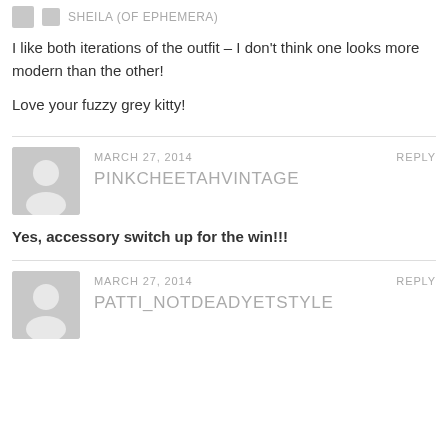SHEILA (OF EPHEMERA)
I like both iterations of the outfit – I don't think one looks more modern than the other!

Love your fuzzy grey kitty!
MARCH 27, 2014   REPLY
PINKCHEETAHVINTAGE
Yes, accessory switch up for the win!!!
MARCH 27, 2014   REPLY
PATTI_NOTDEADYETSTYLE